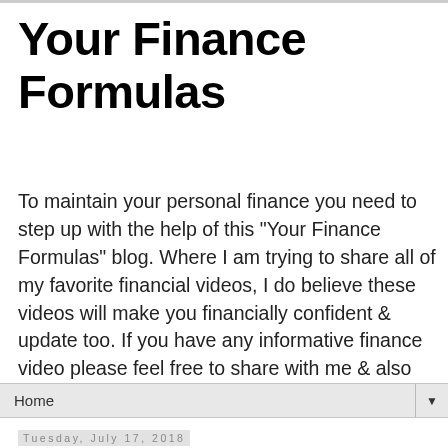Your Finance Formulas
To maintain your personal finance you need to step up with the help of this "Your Finance Formulas" blog. Where I am trying to share all of my favorite financial videos, I do believe these videos will make you financially confident & update too. If you have any informative finance video please feel free to share with me & also share your feedback for my betterment.
Home
Tuesday, July 17, 2018
What is funeral insurance — and is it right for me?
[Figure (illustration): Partial view of an insurance illustration with an umbrella and figure on a light blue background]